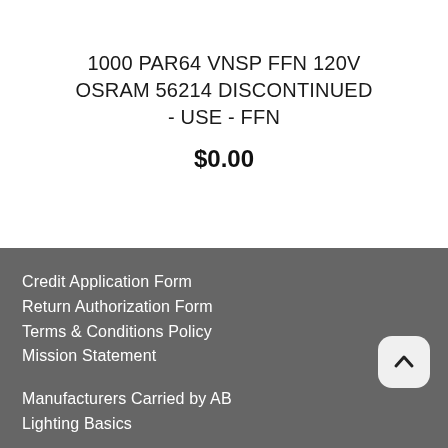1000 PAR64 VNSP FFN 120V OSRAM 56214 DISCONTINUED - USE - FFN
$0.00
Credit Application Form
Return Authorization Form
Terms & Conditions Policy
Mission Statement
Manufacturers Carried by AB Lighting Basics